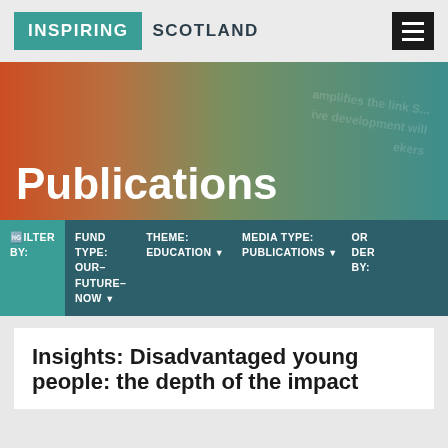[Figure (logo): Inspiring Scotland logo with teal box and hamburger menu]
Publications
[Figure (infographic): Filter bar with: FILTER BY, FUND TYPE: OUR-FUTURE-NOW, THEME: EDUCATION, MEDIA TYPE: PUBLICATIONS, ORDER BY]
Insights: Disadvantaged young people: the depth of the impact